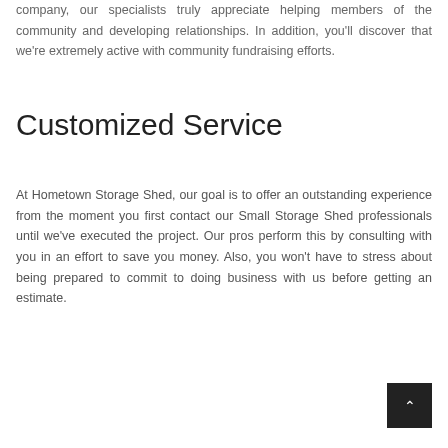company, our specialists truly appreciate helping members of the community and developing relationships. In addition, you'll discover that we're extremely active with community fundraising efforts.
Customized Service
At Hometown Storage Shed, our goal is to offer an outstanding experience from the moment you first contact our Small Storage Shed professionals until we've executed the project. Our pros perform this by consulting with you in an effort to save you money. Also, you won't have to stress about being prepared to commit to doing business with us before getting an estimate.